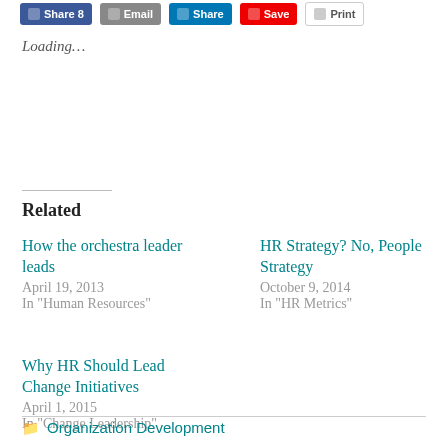[Figure (screenshot): Social sharing buttons: Facebook Share, Email, LinkedIn Share, Save, Print]
Loading…
Related
How the orchestra leader leads
April 19, 2013
In "Human Resources"
HR Strategy? No, People Strategy
October 9, 2014
In "HR Metrics"
Why HR Should Lead Change Initiatives
April 1, 2015
In "Change Leadership"
Organization Development